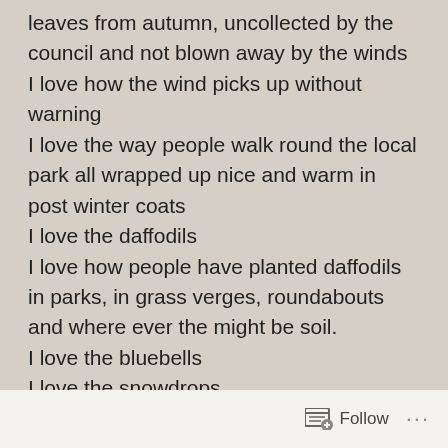leaves from autumn, uncollected by the council and not blown away by the winds
I love how the wind picks up without warning
I love the way people walk round the local park all wrapped up nice and warm in post winter coats
I love the daffodils
I love how people have planted daffodils in parks, in grass verges, roundabouts and where ever the might be soil.
I love the bluebells
I love the snowdrops
I love how the above and the crocuses, tulips and other plants are all starting to poke up out of the soil
Follow ...